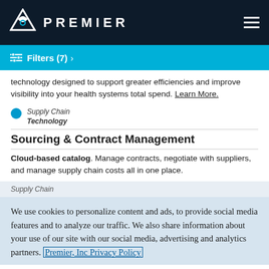PREMIER
Filters (7)
technology designed to support greater efficiencies and improve visibility into your health systems total spend. Learn More.
Supply Chain Technology
Sourcing & Contract Management
Cloud-based catalog. Manage contracts, negotiate with suppliers, and manage supply chain costs all in one place.
Supply Chain
We use cookies to personalize content and ads, to provide social media features and to analyze our traffic. We also share information about your use of our site with our social media, advertising and analytics partners. Premier, Inc Privacy Policy